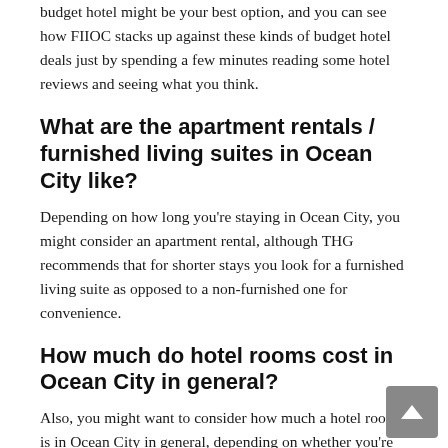budget hotel might be your best option, and you can see how FIIOC stacks up against these kinds of budget hotel deals just by spending a few minutes reading some hotel reviews and seeing what you think.
What are the apartment rentals / furnished living suites in Ocean City like?
Depending on how long you're staying in Ocean City, you might consider an apartment rental, although THG recommends that for shorter stays you look for a furnished living suite as opposed to a non-furnished one for convenience.
How much do hotel rooms cost in Ocean City in general?
Also, you might want to consider how much a hotel room is in Ocean City in general, depending on whether you're staying at a 1 star, 2 star, 3 star, or a high-end 4